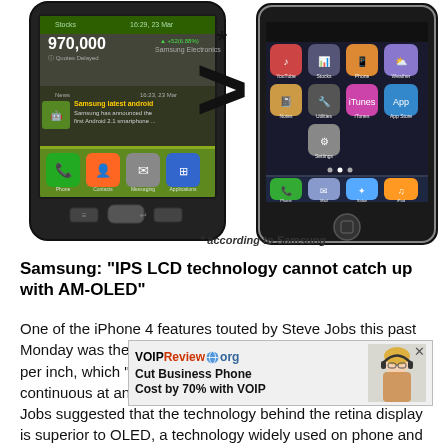[Figure (photo): Comparison image of a Samsung Android phone (left) with a greater-than symbol in the middle and an iPhone 4 (right), suggesting Samsung's display is superior. The Samsung shows a stock ticker and news widget on a green Android home screen. The iPhone shows the standard iOS grid of app icons.]
* according to Samsung
Samsung: "IPS LCD technology cannot catch up with AM-OLED"
One of the iPhone 4 features touted by Steve Jobs this past Monday was the new devices retina display with 326 pixels per inch, which "makes text and graphics look smooth and continuous at any size," according to Apple.  In his keynote, Jobs suggested that the technology behind the retina display is superior to OLED, a technology widely used on phone and televis... Samsu... a bit
[Figure (screenshot): Advertisement overlay for VOIPReview.org: 'Cut Business Phone Cost by 70% with VOIP' with a woman wearing a headset on the right side. Has a close (x) button in the top right corner.]